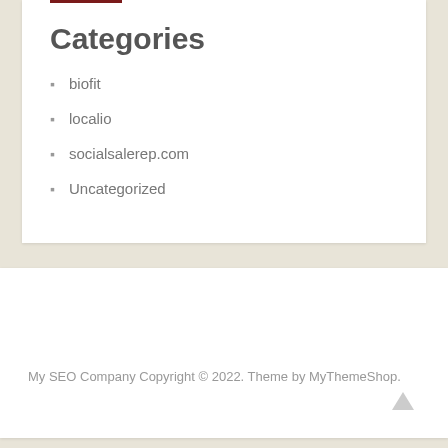Categories
biofit
localio
socialsalerep.com
Uncategorized
My SEO Company Copyright © 2022. Theme by MyThemeShop.